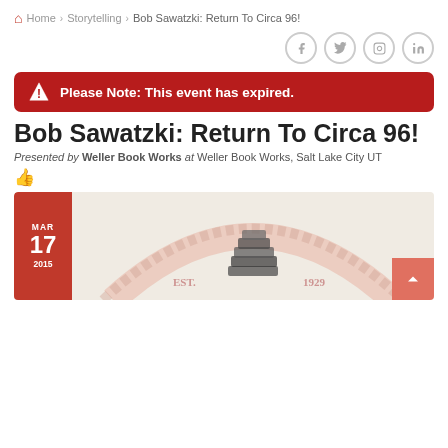Home > Storytelling > Bob Sawatzki: Return To Circa 96!
[Figure (screenshot): Social media icons: Facebook, Twitter, Instagram, LinkedIn in grey circles]
Please Note: This event has expired.
Bob Sawatzki: Return To Circa 96!
Presented by Weller Book Works at Weller Book Works, Salt Lake City UT
[Figure (logo): Weller Book Works logo showing stacked books and 'EST. 1929' text, pink/salmon color on cream background. Date badge: MAR 17 2015 in red.]